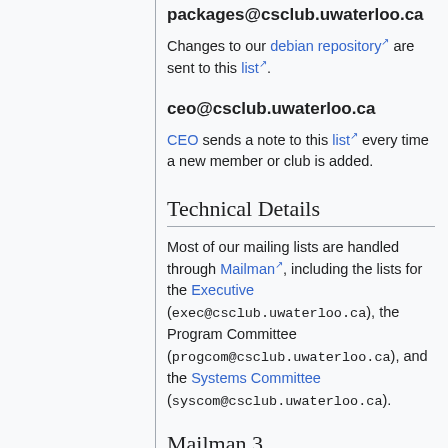packages@csclub.uwaterloo.ca
Changes to our debian repository are sent to this list.
ceo@csclub.uwaterloo.ca
CEO sends a note to this list every time a new member or club is added.
Technical Details
Most of our mailing lists are handled through Mailman, including the lists for the Executive (exec@csclub.uwaterloo.ca), the Program Committee (progcom@csclub.uwaterloo.ca), and the Systems Committee (syscom@csclub.uwaterloo.ca).
Mailman 3